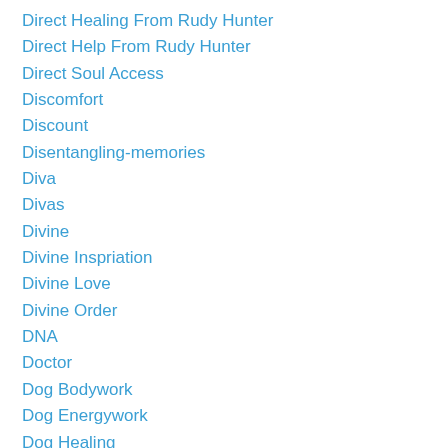Direct Healing From Rudy Hunter
Direct Help From Rudy Hunter
Direct Soul Access
Discomfort
Discount
Disentangling-memories
Diva
Divas
Divine
Divine Inspriation
Divine Love
Divine Order
DNA
Doctor
Dog Bodywork
Dog Energywork
Dog Healing
Dog Poop
Dogs
Dog Training
Dollars